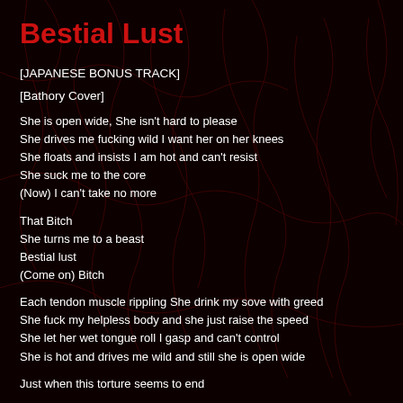Bestial Lust
[JAPANESE BONUS TRACK]
[Bathory Cover]
She is open wide, She isn't hard to please
She drives me fucking wild I want her on her knees
She floats and insists I am hot and can't resist
She suck me to the core
(Now) I can't take no more
That Bitch
She turns me to a beast
Bestial lust
(Come on) Bitch
Each tendon muscle rippling She drink my sove with greed
She fuck my helpless body and she just raise the speed
She let her wet tongue roll I gasp and can't control
She is hot and drives me wild and still she is open wide
Just when this torture seems to end